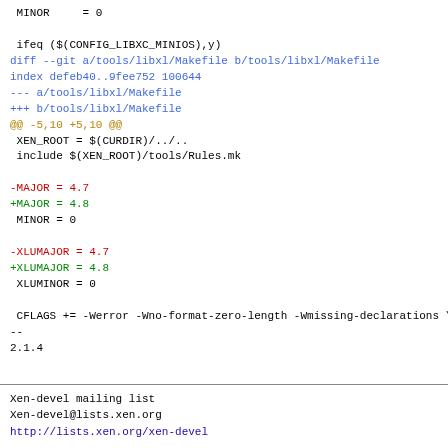MINOR     = 0

 ifeq ($(CONFIG_LIBXC_MINIOS),y)
diff --git a/tools/libxl/Makefile b/tools/libxl/Makefile
index defeb40..9fee752 100644
--- a/tools/libxl/Makefile
+++ b/tools/libxl/Makefile
@@ -5,10 +5,10 @@
 XEN_ROOT = $(CURDIR)/../..
 include $(XEN_ROOT)/tools/Rules.mk

-MAJOR = 4.7
+MAJOR = 4.8
 MINOR = 0

-XLUMAJOR = 4.7
+XLUMAJOR = 4.8
 XLUMINOR = 0

 CFLAGS += -Werror -Wno-format-zero-length -Wmissing-declarations \
--
2.1.4
Xen-devel mailing list
Xen-devel@lists.xen.org
http://lists.xen.org/xen-devel